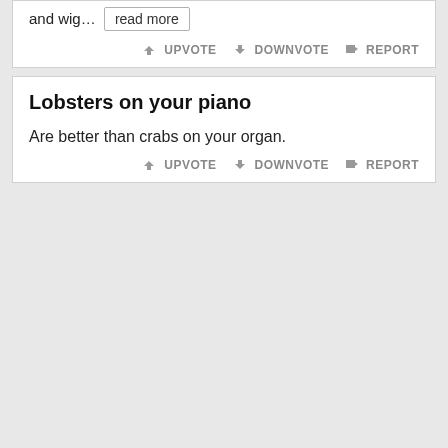and wig… read more
UPVOTE  DOWNVOTE  REPORT
Lobsters on your piano
Are better than crabs on your organ.
UPVOTE  DOWNVOTE  REPORT